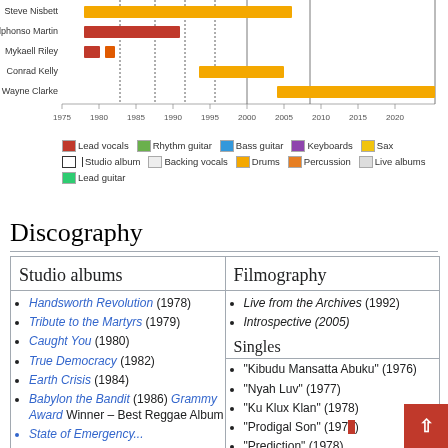[Figure (bar-chart): Horizontal timeline/Gantt chart showing band members (Steve Nisbett, Alphonso Martin, Mykaell Riley, Conrad Kelly, Wayne Clarke) with colored bars spanning years 1975–2025]
Legend: Lead vocals, Backing vocals, Lead guitar, Rhythm guitar, Drums, Percussion, Bass guitar, Keyboards, Sax, Studio album, Live albums
Discography
Studio albums
Filmography
Handsworth Revolution (1978)
Tribute to the Martyrs (1979)
Caught You (1980)
True Democracy (1982)
Earth Crisis (1984)
Babylon the Bandit (1986) Grammy Award Winner – Best Reggae Album
Live from the Archives (1992)
Introspective (2005)
Singles
"Kibudu Mansatta Abuku" (1976)
"Nyah Luv" (1977)
"Ku Klux Klan" (1978)
"Prodigal Son" (1978)
"Prediction" (1978)
"Sound System"